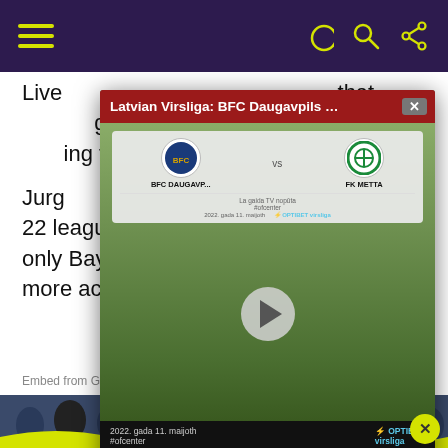navigation bar with hamburger menu and icons
Live... ...naut that ... goal ... Mers... ...ing the l...
[Figure (screenshot): Video overlay showing Latvian Virsliga: BFC Daugavpils vs FK Metta match with play button, team logos, and scoreboard]
Jurg... ...eir 22 league games so far this season, with only Bayern Munich having managed more across Europe's major leagues.
Embed from Getty Images
[Figure (photo): Crowd photo from a football stadium, partially visible at bottom of page]